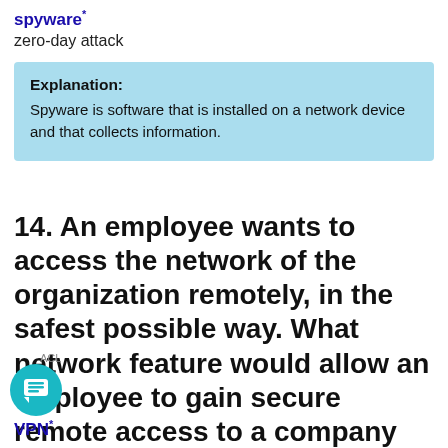spyware*
zero-day attack
Explanation: Spyware is software that is installed on a network device and that collects information.
14. An employee wants to access the network of the organization remotely, in the safest possible way. What network feature would allow an employee to gain secure remote access to a company network?
VPN*